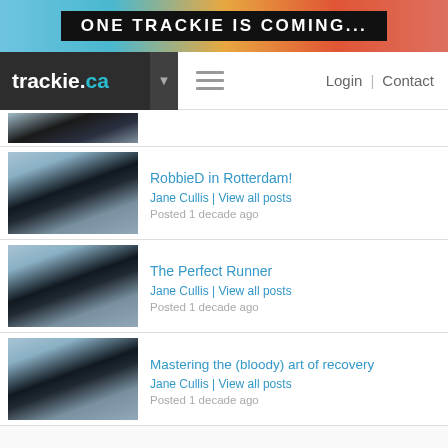ONE TRACKIE IS COMING...
trackie.ca  Login | Contact
[Figure (photo): Partial thumbnail of female runner in black top at a race]
RobbieD in Rotterdam!
Jane Cullis | View all posts
Posted 1 decade ago
The Perfect Runner
Jane Cullis | View all posts
Posted 1 decade ago
Mastering the (bloody) art of recovery
Jane Cullis | View all posts
Posted 1 decade ago
Page 1 of 2